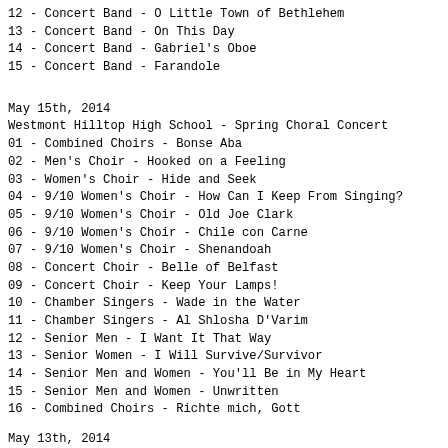12 - Concert Band - O Little Town of Bethlehem
13 - Concert Band - On This Day
14 - Concert Band - Gabriel's Oboe
15 - Concert Band - Farandole
May 15th, 2014
Westmont Hilltop High School - Spring Choral Concert
01 - Combined Choirs - Bonse Aba
02 - Men's Choir - Hooked on a Feeling
03 - Women's Choir - Hide and Seek
04 - 9/10 Women's Choir - How Can I Keep From Singing?
05 - 9/10 Women's Choir - Old Joe Clark
06 - 9/10 Women's Choir - Chile con Carne
07 - 9/10 Women's Choir - Shenandoah
08 - Concert Choir - Belle of Belfast
09 - Concert Choir - Keep Your Lamps!
10 - Chamber Singers - Wade in the Water
11 - Chamber Singers - Al Shlosha D'Varim
12 - Senior Men - I Want It That Way
13 - Senior Women - I Will Survive/Survivor
14 - Senior Men and Women - You'll Be in My Heart
15 - Senior Men and Women - Unwritten
16 - Combined Choirs - Richte mich, Gott
May 13th, 2014
Westmont Hilltop High School - "Spring Rejuvenation" Inst
01 - Rhythm and Groove Jazz Ensemble - Make Me Smile
02 - Rhythm and Groove Jazz Ensemble - Sweet Georgia Brow
03 - Rhythm and Groove Jazz Ensemble - Summertime